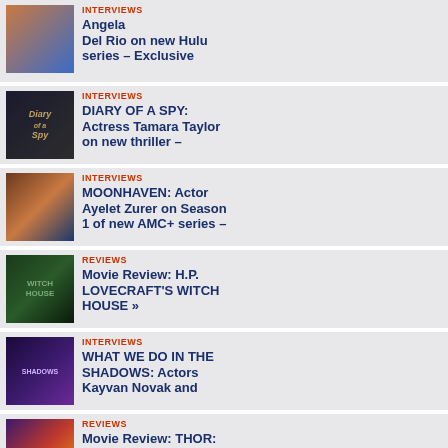INTERVIEWS: Angela Del Rio on new Hulu series – Exclusive
INTERVIEWS: DIARY OF A SPY: Actress Tamara Taylor on new thriller –
INTERVIEWS: MOONHAVEN: Actor Ayelet Zurer on Season 1 of new AMC+ series –
REVIEWS: Movie Review: H.P. LOVECRAFT'S WITCH HOUSE »
INTERVIEWS: WHAT WE DO IN THE SHADOWS: Actors Kayvan Novak and
REVIEWS: Movie Review: THOR: LOVE AND THUNDER »
REVIEWS: Movie Review: THE PRINCESS »
[Figure (photo): Atmosphere at the World Premiere of Marvel Studios DOCTOR STRANGE at the El Capitan Theatre, October 20, 2016, Hollywood, California. Photo Credit Sue Schneider_MGP Agency]
[Figure (photo): Miles Brown at World Premiere of Marvel Studios DOCTOR STRANGE at the El Capitan Theatre, October 20, 2016, Hollywood, California. Photo Credit Sue Schneider_MGP Agency]
Atmosphere at the World Premiere of Marvel Studios DOCTOR STRANGE at the El Capitan Theatre, October 20, 2016, Hollywood, California. Photo Credit Sue Schneider_MGP Agency
Miles Brown Premiere of Studios DOCTOR STRANGE at Capitan Theatre, October 20, 2016, Hollywood, California. Photo Credit Sue Schneider_MGP Agency